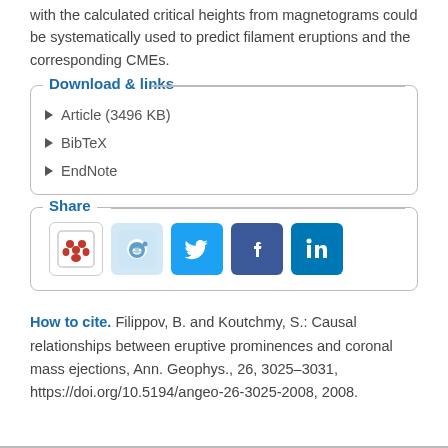with the calculated critical heights from magnetograms could be systematically used to predict filament eruptions and the corresponding CMEs.
Download & links
Article (3496 KB)
BibTeX
EndNote
Share
[Figure (other): Social sharing icons: Mendeley, Reddit, Twitter, Facebook, LinkedIn]
How to cite. Filippov, B. and Koutchmy, S.: Causal relationships between eruptive prominences and coronal mass ejections, Ann. Geophys., 26, 3025–3031, https://doi.org/10.5194/angeo-26-3025-2008, 2008.